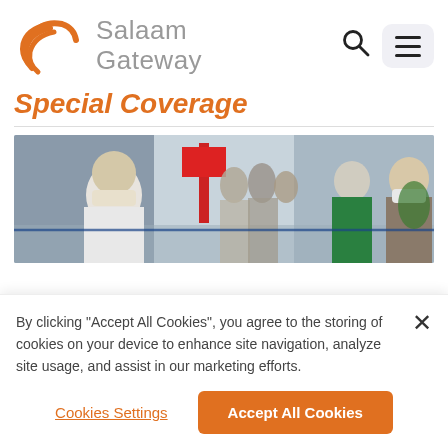[Figure (logo): Salaam Gateway logo: orange wave/crescent symbol on the left, grey text 'Salaam Gateway' on the right]
[Figure (other): Search icon (magnifying glass) and hamburger menu button in top right navigation area]
Special Coverage
[Figure (photo): Airport scene showing travelers and staff wearing masks, with a health screening checkpoint visible]
By clicking “Accept All Cookies”, you agree to the storing of cookies on your device to enhance site navigation, analyze site usage, and assist in our marketing efforts.
Cookies Settings
Accept All Cookies